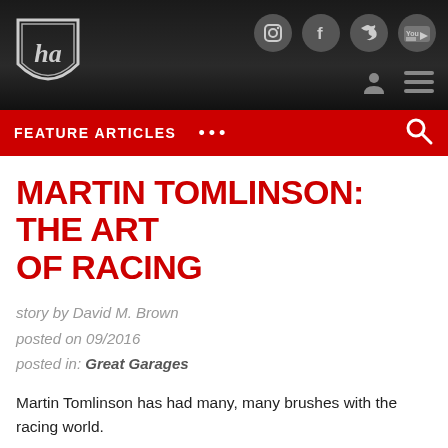[Figure (logo): Website header with ha shield logo, social media icons (Instagram, Facebook, Twitter, YouTube), user icon and hamburger menu on dark background]
FEATURE ARTICLES •••
MARTIN TOMLINSON: THE ART OF RACING
story by David M. Brown
posted on 09/2016
posted in: Great Garages
Martin Tomlinson has had many, many brushes with the racing world.
The English artist has exhibited paintings at Silverstone, Le Mans, Goodwood Festival of Speed and in London's West